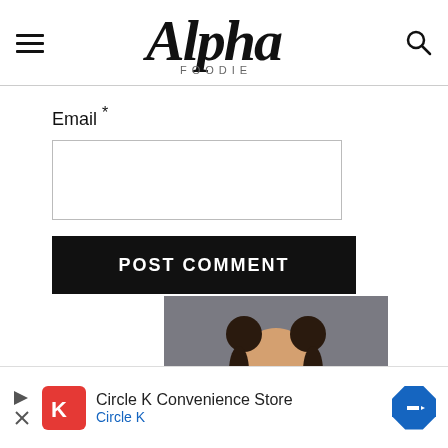Alpha Foodie
Email *
[Figure (screenshot): POST COMMENT button (black background, white bold uppercase text)]
[Figure (photo): A smiling young woman with dark hair in buns, hands on face, against a gray background]
[Figure (infographic): Advertisement banner: Circle K Convenience Store, Circle K]